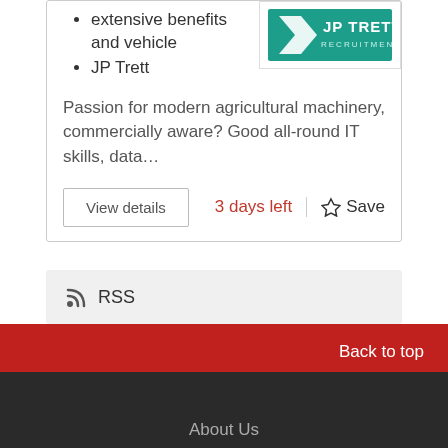extensive benefits and vehicle
JP Trett
[Figure (logo): JP Trett Recruitment logo with teal/green background]
Passion for modern agricultural machinery, commercially aware? Good all-round IT skills, data…
View details
3 days left
Save
RSS
Back to top
About Us